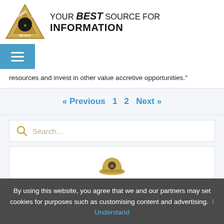YOUR BEST SOURCE FOR INFORMATION
resources and invest in other value accretive opportunities."
« Previous  1  2  Next »
Search...
[Figure (logo): Mining Center Mexico hard hat logo widget]
By using this website, you agree that we and our partners may set cookies for purposes such as customising content and advertising.  I Understand